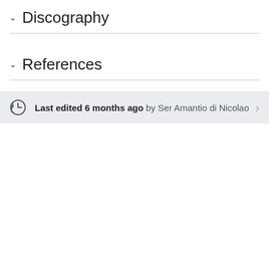Discography
References
Last edited 6 months ago by Ser Amantio di Nicolao